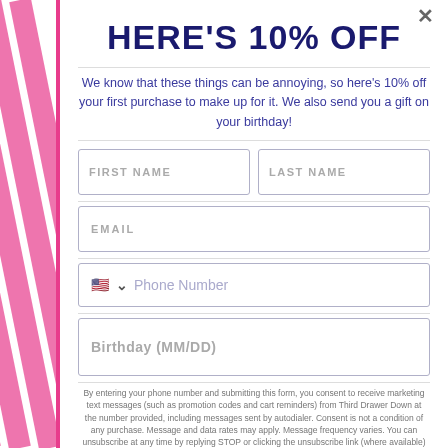HERE'S 10% OFF
We know that these things can be annoying, so here's 10% off your first purchase to make up for it. We also send you a gift on your birthday!
FIRST NAME | LAST NAME | EMAIL | Phone Number | Birthday (MM/DD)
By entering your phone number and submitting this form, you consent to receive marketing text messages (such as promotion codes and cart reminders) from Third Drawer Down at the number provided, including messages sent by autodialer. Consent is not a condition of any purchase. Message and data rates may apply. Message frequency varies. You can unsubscribe at any time by replying STOP or clicking the unsubscribe link (where available)